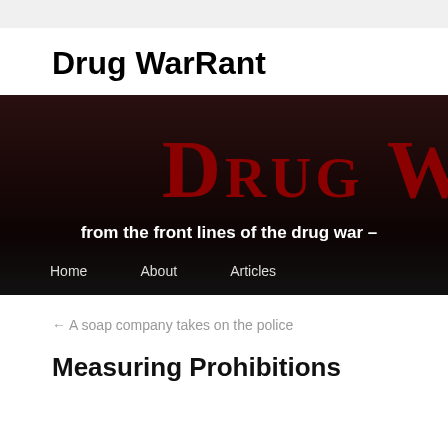Drug WarRant
[Figure (screenshot): Website banner for Drug WarRant blog showing dark reddish-black background with large red small-caps text 'Drug W' (partially cropped), subtitle 'from the front lines of the drug war –' and navigation links: Home, About, Articles]
← A soap company takes on the police
Measuring Prohibitions